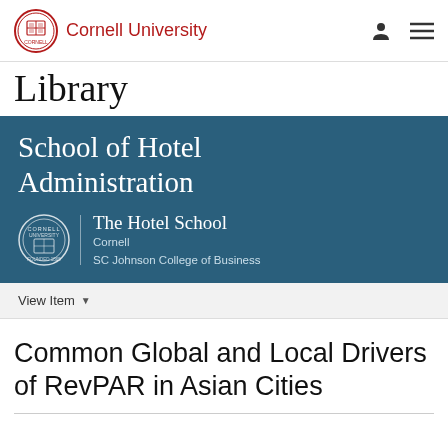Cornell University Library
[Figure (logo): Cornell University Library header with seal and navigation icons, followed by School of Hotel Administration banner with The Hotel School Cornell SC Johnson College of Business branding]
View Item
Common Global and Local Drivers of RevPAR in Asian Cities